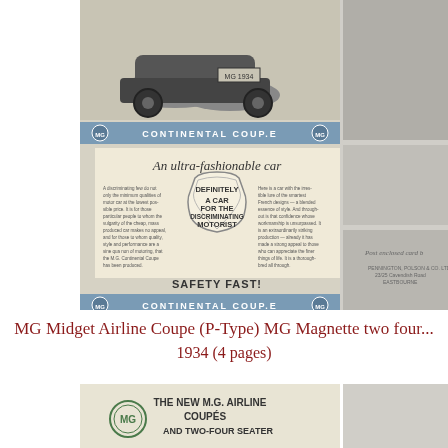[Figure (photo): Vintage MG Continental Coupe advertisement brochure scan showing MG 1934 car at top, banner reading 'MG CONTINENTAL COUPE', text panel with cursive heading 'An ultra-fashionable car', central decorative cartouche with text 'DEFINITELY A CAR FOR THE DISCRIMINATING MOTORIST', slogan 'SAFETY FAST!', bottom banner repeating 'MG CONTINENTAL COUPE', with additional partial images of car on the right side and a reply card panel.]
MG Midget Airline Coupe (P-Type) MG Magnette two four...
1934 (4 pages)
[Figure (photo): Bottom portion of another vintage MG brochure scan showing MG logo and text 'THE NEW M.G. AIRLINE COUPES AND TWO-FOUR SEATER']